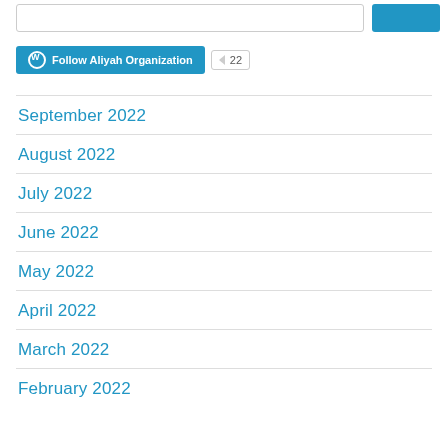[Figure (screenshot): Top bar with search input box and blue button]
[Figure (screenshot): WordPress Follow Aliyah Organization button with count badge showing 22]
September 2022
August 2022
July 2022
June 2022
May 2022
April 2022
March 2022
February 2022